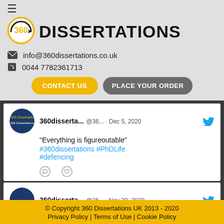[Figure (logo): 360 Dissertations logo with circular arrow and '360' text in gold]
DISSERTATIONS
info@360dissertations.co.uk
0044 7782361713
CONTACT US
PLACE YOUR ORDER
[Figure (screenshot): Twitter feed showing two tweets from 360dissertations account]
360disserta... @36... · Dec 5, 2020
"Everything is figureoutable"
#360dissertations #PhDLife
#defencing
360disserta... @36... · Nov 30, 2020
© Copyright 360 Dissertations UK 2013 - 2020
Privacy Policy | Terms of Use | Cookie Policy